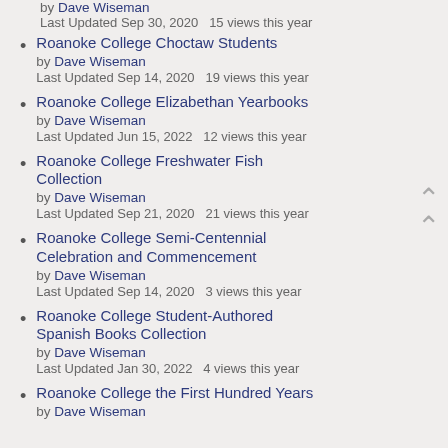by Dave Wiseman
Last Updated Sep 30, 2020  15 views this year
Roanoke College Choctaw Students
by Dave Wiseman
Last Updated Sep 14, 2020  19 views this year
Roanoke College Elizabethan Yearbooks
by Dave Wiseman
Last Updated Jun 15, 2022  12 views this year
Roanoke College Freshwater Fish Collection
by Dave Wiseman
Last Updated Sep 21, 2020  21 views this year
Roanoke College Semi-Centennial Celebration and Commencement
by Dave Wiseman
Last Updated Sep 14, 2020  3 views this year
Roanoke College Student-Authored Spanish Books Collection
by Dave Wiseman
Last Updated Jan 30, 2022  4 views this year
Roanoke College the First Hundred Years
by Dave Wiseman